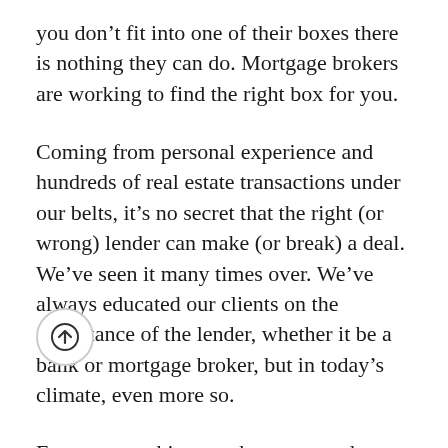you don't fit into one of their boxes there is nothing they can do. Mortgage brokers are working to find the right box for you.
Coming from personal experience and hundreds of real estate transactions under our belts, it's no secret that the right (or wrong) lender can make (or break) a deal. We've seen it many times over. We've always educated our clients on the importance of the lender, whether it be a bank or mortgage broker, but in today's climate, even more so.
For more on this, or to be connected to some great mortgage brokers that we know will go the extra mile, and who are familiar with the Canmore market, please contact us.